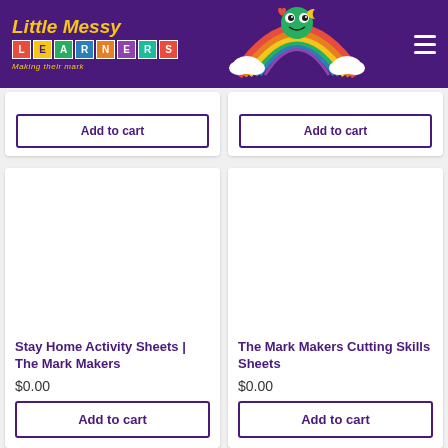[Figure (logo): Little Messy Learners logo with colorful letter blocks and tagline 'Making their mark']
[Figure (illustration): Cartoon rainbow mascot with smiling face, clouds, hearts, and moon on purple background]
Add to cart
Add to cart
Stay Home Activity Sheets | The Mark Makers
$0.00
The Mark Makers Cutting Skills Sheets
$0.00
Add to cart
Add to cart